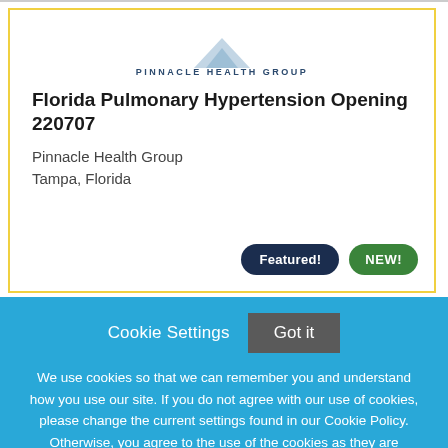[Figure (logo): Pinnacle Health Group logo with blue triangle/mountain shape above text 'PINNACLE HEALTH GROUP']
Florida Pulmonary Hypertension Opening 220707
Pinnacle Health Group
Tampa, Florida
Featured!
NEW!
Cookie Settings
Got it
We use cookies so that we can remember you and understand how you use our site. If you do not agree with our use of cookies, please change the current settings found in our Cookie Policy. Otherwise, you agree to the use of the cookies as they are currently set.